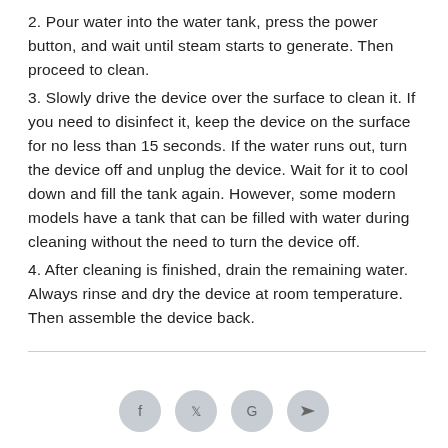2. Pour water into the water tank, press the power button, and wait until steam starts to generate. Then proceed to clean.
3. Slowly drive the device over the surface to clean it. If you need to disinfect it, keep the device on the surface for no less than 15 seconds. If the water runs out, turn the device off and unplug the device. Wait for it to cool down and fill the tank again. However, some modern models have a tank that can be filled with water during cleaning without the need to turn the device off.
4. After cleaning is finished, drain the remaining water. Always rinse and dry the device at room temperature. Then assemble the device back.
[Figure (other): Social media share icons (Facebook, Twitter/X, Google/other, forward/share) displayed as circular grey buttons at the bottom of the page]